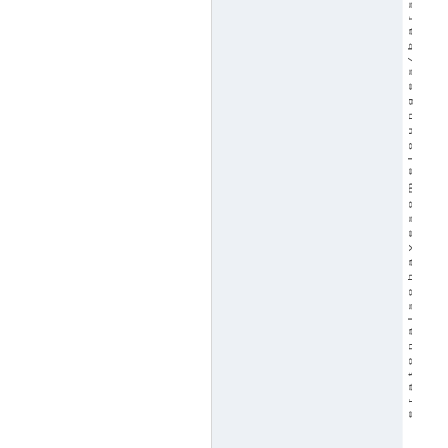e r a t o n a l s o h a v e s o m e l o u n g e s / b a r s